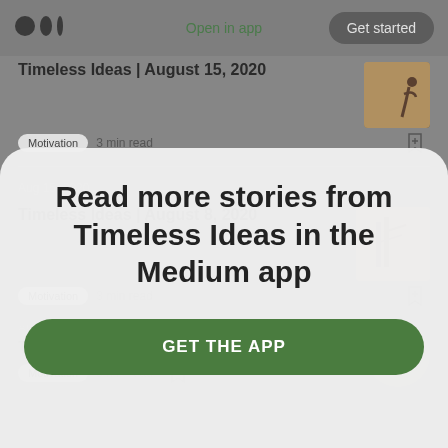[Figure (screenshot): Medium app top bar with logo, 'Open in app' link, and 'Get started' button]
Timeless Ideas | August 15, 2020
Motivation  3 min read
Aug 15, 2020
Timeless Ideas | August 8, 2020
Motivation  3 min read
Read more stories from Timeless Ideas in the Medium app
GET THE APP